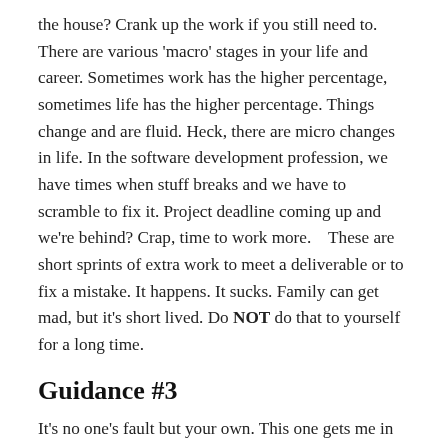the house? Crank up the work if you still need to. There are various ‘macro’ stages in your life and career. Sometimes work has the higher percentage, sometimes life has the higher percentage. Things change and are fluid. Heck, there are micro changes in life. In the software development profession, we have times when stuff breaks and we have to scramble to fix it. Project deadline coming up and we’re behind? Crap, time to work more. These are short sprints of extra work to meet a deliverable or to fix a mistake. It happens. It sucks. Family can get mad, but it’s short lived. Do NOT do that to yourself for a long time.
Guidance #3
It’s no one’s fault but your own. This one gets me in trouble when I talk to ‘certain’ people. “My boss made